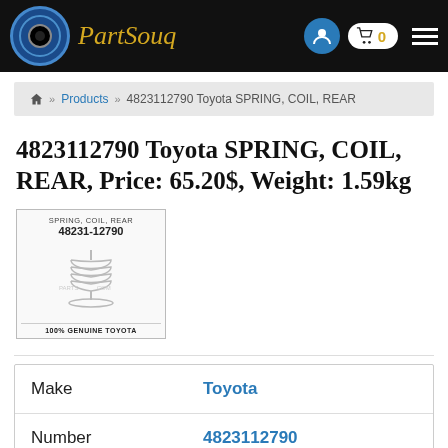PartSouq
Home » Products » 4823112790 Toyota SPRING, COIL, REAR
4823112790 Toyota SPRING, COIL, REAR, Price: 65.20$, Weight: 1.59kg
[Figure (photo): Product thumbnail showing Toyota coil spring part 48231-12790 with text SPRING, COIL, REAR and 100% GENUINE TOYOTA]
|  |  |
| --- | --- |
| Make | Toyota |
| Number | 4823112790 |
| Name | SPRING, COIL, REAR |